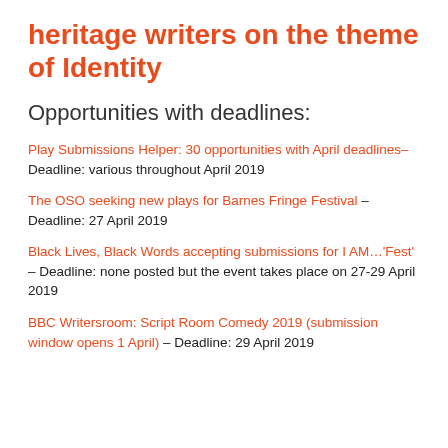heritage writers on the theme of Identity
Opportunities with deadlines:
Play Submissions Helper: 30 opportunities with April deadlines– Deadline: various throughout April 2019
The OSO seeking new plays for Barnes Fringe Festival – Deadline: 27 April 2019
Black Lives, Black Words accepting submissions for I AM…'Fest' – Deadline: none posted but the event takes place on 27-29 April 2019
BBC Writersroom: Script Room Comedy 2019 (submission window opens 1 April) – Deadline: 29 April 2019